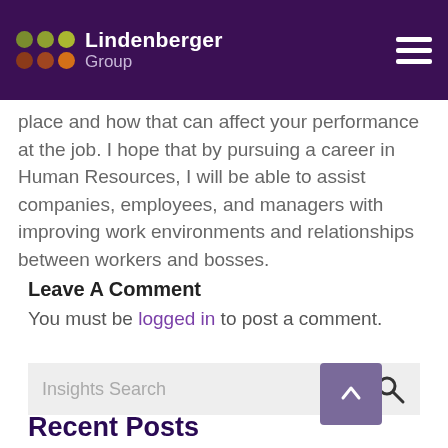Lindenberger Group
place and how that can affect your performance at the job. I hope that by pursuing a career in Human Resources, I will be able to assist companies, employees, and managers with improving work environments and relationships between workers and bosses.
Leave A Comment
You must be logged in to post a comment.
Insights Search
Recent Posts